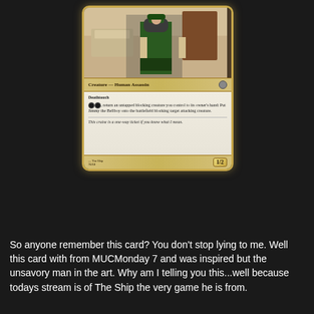[Figure (illustration): A Magic: The Gathering card called 'Jimmy the Bellboy' displayed against a dark background. The card shows a bellboy in green uniform standing in a hotel room. Type line reads 'Creature — Human Assassin'. The text box contains: Deathtouch ability, a tap ability involving returning a blocking creature, flavor text 'This cruise is a one-way ticket if you know what I mean.' Power/toughness: 1/2.]
So anyone remember this card? You don't stop lying to me. Well this card with from MUCMonday 7 and was inspired but the unsavory man in the art. Why am I telling you this...well because todays stream is of The Ship the very game he is from.